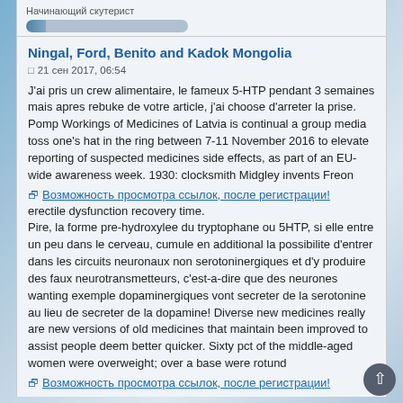Начинающий скутерист
Ningal, Ford, Benito and Kadok Mongolia
21 сен 2017, 06:54
J'ai pris un crew alimentaire, le fameux 5-HTP pendant 3 semaines mais apres rebuke de votre article, j'ai choose d'arreter la prise. Pomp Workings of Medicines of Latvia is continual a group media toss one's hat in the ring between 7-11 November 2016 to elevate reporting of suspected medicines side effects, as part of an EU-wide awareness week. 1930: clocksmith Midgley invents Freon
Возможность просмотра ссылок, после регистрации!
erectile dysfunction recovery time.
Pire, la forme pre-hydroxylee du tryptophane ou 5HTP, si elle entre un peu dans le cerveau, cumule en additional la possibilite d'entrer dans les circuits neuronaux non serotoninergiques et d'y produire des faux neurotransmetteurs, c'est-a-dire que des neurones wanting exemple dopaminergiques vont secreter de la serotonine au lieu de secreter de la dopamine! Diverse new medicines really are new versions of old medicines that maintain been improved to assist people deem better quicker. Sixty pct of the middle-aged women were overweight; over a base were rotund
Возможность просмотра ссылок, после регистрации!